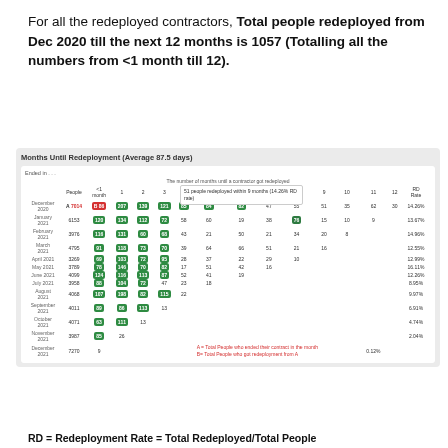For all the redeployed contractors, Total people redeployed from Dec 2020 till the next 12 months is 1057 (Totalling all the numbers from <1 month till 12).
| Ended In | People | <1 month | 1 | 2 | 3 | 4 | 5 | 6 | 7 | 8 | 9 | 10 | 11 | 12 | RD Rate |
| --- | --- | --- | --- | --- | --- | --- | --- | --- | --- | --- | --- | --- | --- | --- | --- |
| December 2020 | A 7014 | B 86 | 207 | 139 | 121 | 85 | 84 | 82 | 47 | 55 | 51 | 35 | 62 | 30 | 14.26% |
| January 2021 | 6153 | 120 | 134 | 112 | 72 | 58 | 60 | 19 | 38 | 76 | 15 | 10 | 9 |  | 13.67% |
| February 2021 | 3976 | 116 | 131 | 60 | 68 | 43 | 21 | 50 | 21 | 34 | 20 | 8 |  |  | 14.96% |
| March 2021 | 4795 | 91 | 118 | 73 | 70 | 39 | 64 | 66 | 51 | 21 | 16 |  |  |  | 12.55% |
| April 2021 | 3269 | 69 | 103 | 72 | 95 | 28 | 37 | 22 | 29 | 10 |  |  |  |  | 12.99% |
| May 2021 | 3789 | 78 | 146 | 70 | 82 | 17 | 51 | 42 | 16 |  |  |  |  |  | 16.11% |
| June 2021 | 4099 | 124 | 116 | 113 | 87 | 52 | 41 | 19 |  |  |  |  |  |  | 12.26% |
| July 2021 | 3958 | 88 | 104 | 72 | 47 | 23 | 18 |  |  |  |  |  |  |  | 8.95% |
| August 2021 | 4068 | 107 | 198 | 82 | 115 | 22 |  |  |  |  |  |  |  |  | 9.97% |
| September 2021 | 4011 | 89 | 86 | 113 | 13 |  |  |  |  |  |  |  |  |  | 6.91% |
| October 2021 | 4071 | 63 | 111 | 13 |  |  |  |  |  |  |  |  |  |  | 4.74% |
| November 2021 | 3987 | 85 | 26 |  |  |  |  |  |  |  |  |  |  |  | 2.04% |
| December 2021 | 7270 | 9 |  |  |  |  |  |  |  |  |  |  |  |  | 0.12% |
A = Total People who ended their contract in the month
B= Total People who got redeployment from A
RD = Redeployment Rate = Total Redeployed/Total People